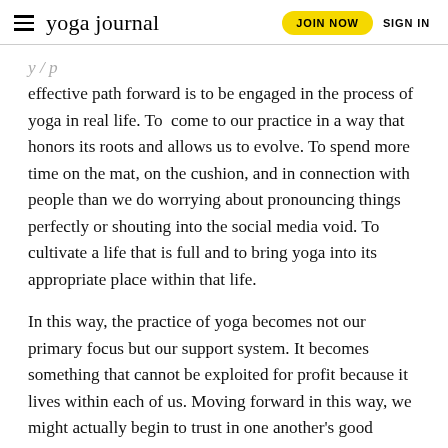yoga journal | JOIN NOW | SIGN IN
effective path forward is to be engaged in the process of yoga in real life. To  come to our practice in a way that honors its roots and allows us to evolve. To spend more time on the mat, on the cushion, and in connection with people than we do worrying about pronouncing things perfectly or shouting into the social media void. To cultivate a life that is full and to bring yoga into its appropriate place within that life.
In this way, the practice of yoga becomes not our primary focus but our support system. It becomes something that cannot be exploited for profit because it lives within each of us. Moving forward in this way, we might actually begin to trust in one another's good intentions and build a continually evolving culture of authenticity, respect, humility, and love.
ADVERTISEMENT